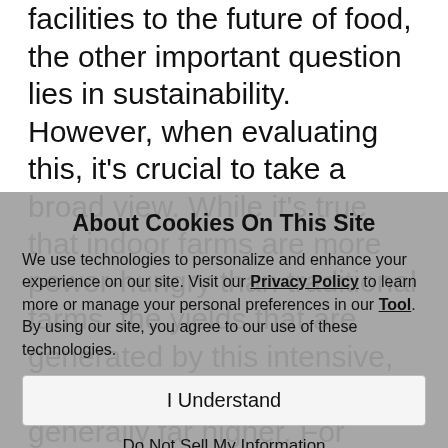facilities to the future of food, the other important question lies in sustainability. However, when evaluating this, it's crucial to take a broad view. While it's true that indoor farms are more power-hungry than traditional farms, the yields that are generated by this intensive, measured approach are generally far higher. For example, a CEA facility could generate 12 harvests of herbs or leafy greens per year compared with perhaps two harvests from a traditional outdoor
About Cookies On This Site
We use technologies to personalize and enhance your experience on our site. Visit our Privacy Policy to learn more or manage your personal preferences in our Tool. By using our site, you agree to our use of these technologies.
I Understand
Do Not Sell My Information